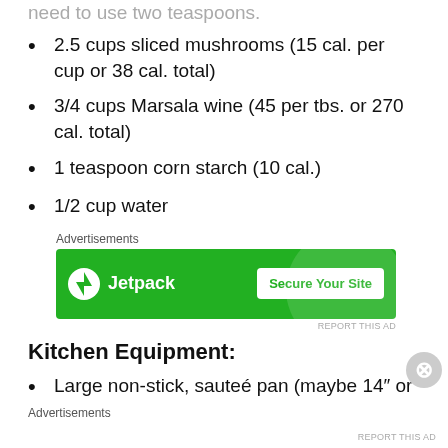need to use two teaspoons.
2.5 cups sliced mushrooms (15 cal. per cup or 38 cal. total)
3/4 cups Marsala wine (45 per tbs. or 270 cal. total)
1 teaspoon corn starch (10 cal.)
1/2 cup water
[Figure (other): Jetpack advertisement banner with green background showing Jetpack logo and 'Secure Your Site' button]
Kitchen Equipment:
Large non-stick, sauteé pan (maybe 14" or
Advertisements